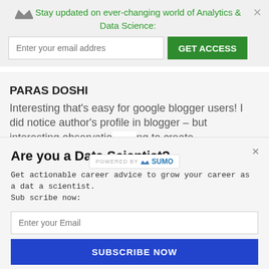Stay updated on ever-changing world of Analytics & Data Science:
Enter your email addres
GET ACCESS
PARAS DOSHI
Interesting that's easy for google blogger users! I did notice author's profile in blogger – but interesting observatio ng to create
[Figure (logo): POWERED BY SUMO logo with crown icon]
Are you a Data Scientist?
Get actionable career advice to grow your career as a data scientist. Subscribe now:
Enter your Email
SUBSCRIBE NOW